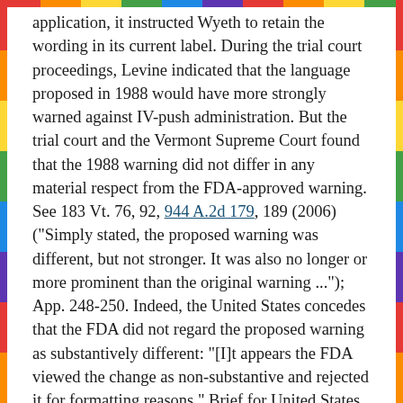application, it instructed Wyeth to retain the wording in its current label. During the trial court proceedings, Levine indicated that the language proposed in 1988 would have more strongly warned against IV-push administration. But the trial court and the Vermont Supreme Court found that the 1988 warning did not differ in any material respect from the FDA-approved warning. See 183 Vt. 76, 92, 944 A.2d 179, 189 (2006) ("Simply stated, the proposed warning was different, but not stronger. It was also no longer or more prominent than the original warning ..."); App. 248-250. Indeed, the United States concedes that the FDA did not regard the proposed warning as substantively different: "[I]t appears the FDA viewed the change as non-substantive and rejected it for formatting reasons." Brief for United States as Amicus Curiae 25; see also 183 Vt., at 92-93, 944 A.2d, at 189.
6. The dissent's suggestion that the FDA intended